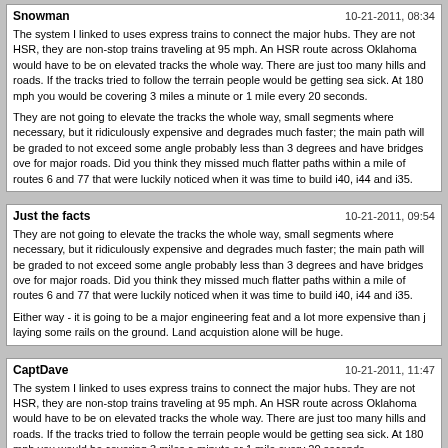Snowman   10-21-2011, 08:34
The system I linked to uses express trains to connect the major hubs. They are not HSR, they are non-stop trains traveling at 95 mph. An HSR route across Oklahoma would have to be on elevated tracks the whole way. There are just too many hills and roads. If the tracks tried to follow the terrain people would be getting sea sick. At 180 mph you would be covering 3 miles a minute or 1 mile every 20 seconds.

They are not going to elevate the tracks the whole way, small segments where necessary, but it ridiculously expensive and degrades much faster; the main path will be graded to not exceed some angle probably less than 3 degrees and have bridges over for major roads. Did you think they missed much flatter paths within a mile of routes 6 and 77 that were luckily noticed when it was time to build i40, i44 and i35.
Just the facts   10-21-2011, 09:54
They are not going to elevate the tracks the whole way, small segments where necessary, but it ridiculously expensive and degrades much faster; the main path will be graded to not exceed some angle probably less than 3 degrees and have bridges over for major roads. Did you think they missed much flatter paths within a mile of routes 6 and 77 that were luckily noticed when it was time to build i40, i44 and i35.

Either way - it is going to be a major engineering feat and a lot more expensive than j laying some rails on the ground. Land acquistion alone will be huge.
CaptDave   10-21-2011, 11:47
The system I linked to uses express trains to connect the major hubs. They are not HSR, they are non-stop trains traveling at 95 mph. An HSR route across Oklahoma would have to be on elevated tracks the whole way. There are just too many hills and roads. If the tracks tried to follow the terrain people would be getting sea sick. At 180 mph you would be covering 3 miles a minute or 1 mile every 20 seconds.

I realize that. One of the primary barriers presently is the Federal Railroad Administration requirements for rail vehicles. Current regulations preclude light diesel units from running on the system we have. The feeder system running conventional